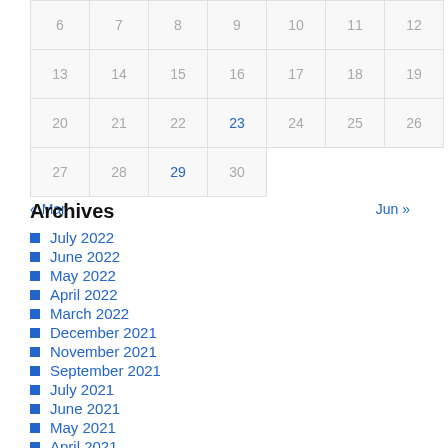| 6 | 7 | 8 | 9 | 10 | 11 | 12 |
| 13 | 14 | 15 | 16 | 17 | 18 | 19 |
| 20 | 21 | 22 | 23 | 24 | 25 | 26 |
| 27 | 28 | 29 | 30 |  |  |  |
« Mar    Jun »
Archives
July 2022
June 2022
May 2022
April 2022
March 2022
December 2021
November 2021
September 2021
July 2021
June 2021
May 2021
April 2021
March 2021
January 2021
December 2020
August 2020